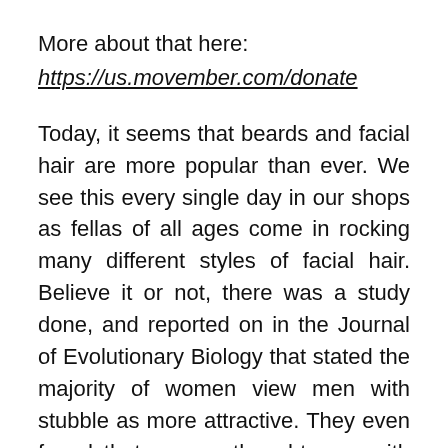More about that here:
https://us.movember.com/donate
Today, it seems that beards and facial hair are more popular than ever. We see this every single day in our shops as fellas of all ages come in rocking many different styles of facial hair. Believe it or not, there was a study done, and reported on in the Journal of Evolutionary Biology that stated the majority of women view men with stubble as more attractive. They even found that women thought men with beards were real keepers. Whatever the truth may be, we aren't scientists over here, we just know from experience that more and more people are wearing beards or facial hair, and that means more and more people have questions about how to care for them. As for the sexiness factor, you will just have to find that out on your own.